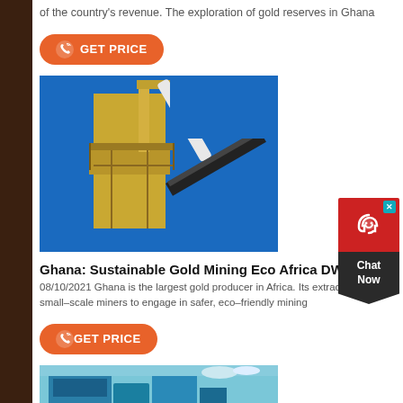of the country's revenue. The exploration of gold reserves in Ghana
[Figure (other): Orange GET PRICE button with phone icon]
[Figure (photo): Mining equipment - yellow industrial conveyor/crusher structure against blue sky]
Ghana: Sustainable Gold Mining Eco Africa DW 0
08/10/2021 Ghana is the largest gold producer in Africa. Its extrac small-scale miners to engage in safer, eco-friendly mining
[Figure (other): Orange GET PRICE button with phone icon]
[Figure (photo): Blue mining/industrial equipment against sky]